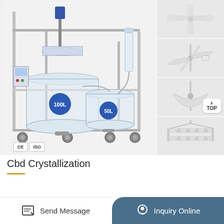[Figure (photo): Laboratory CBD crystallization equipment: a stainless steel frame on wheels holding two glass reactors (100L and 50L), with motor drive on top. CE and ISO certification marks visible at bottom left.]
[Figure (photo): Close-up of a white paddle/anchor stirrer blade (top view)]
[Figure (photo): Close-up of a white propeller/turbine stirrer blade]
[Figure (photo): Close-up of a white half-moon/crescent scraper stirrer blade with TOP badge]
[Figure (photo): Close-up of a white rectangular frame/grid stirrer paddle]
Cbd Crystallization
Send Message
Inquiry Online